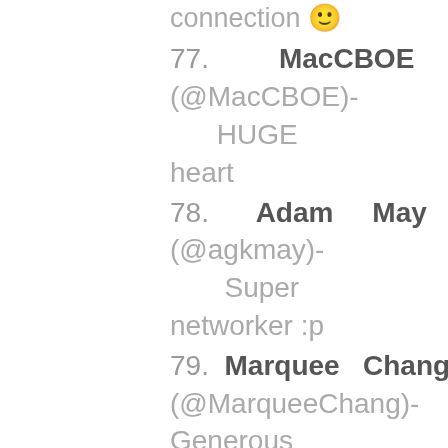connection 😊
77. MacCBOE (@MacCBOE)- HUGE heart
78. Adam May (@agkmay)- Super networker :p
79. Marquee Chang (@MarqueeChang)- Generous
80. Business Unbound (@BusinessUnbound)- Enthusiastic
81. Dimitri and Cat (@DimitriandCat)- BEST GRAPHIC DESIGNER EVER. He designed my